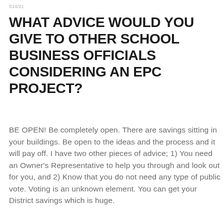S14/21
WHAT ADVICE WOULD YOU GIVE TO OTHER SCHOOL BUSINESS OFFICIALS CONSIDERING AN EPC PROJECT?
BE OPEN! Be completely open. There are savings sitting in your buildings. Be open to the ideas and the process and it will pay off. I have two other pieces of advice; 1) You need an Owner's Representative to help you through and look out for you, and 2) Know that you do not need any type of public vote. Voting is an unknown element. You can get your District savings which is huge.